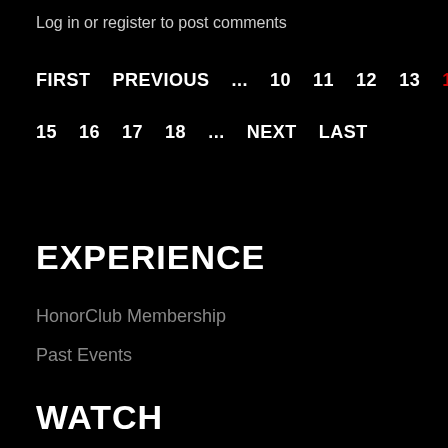Log in or register to post comments
FIRST   PREVIOUS   ...   10   11   12   13   14   15   16   17   18   ...   NEXT   LAST
EXPERIENCE
HonorClub Membership
Past Events
WATCH
Pay Per View
YouTube